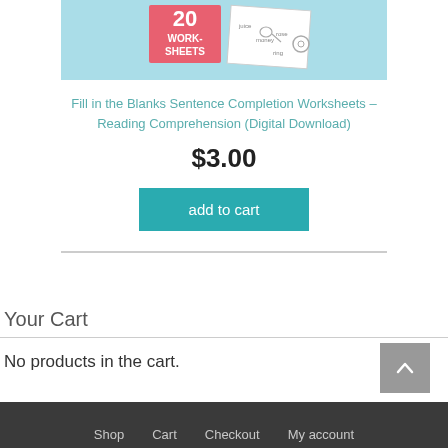[Figure (illustration): Product thumbnail showing a '20 Worksheets' pink badge with worksheet preview cards on a light blue background]
Fill in the Blanks Sentence Completion Worksheets – Reading Comprehension (Digital Download)
$3.00
add to cart
Your Cart
No products in the cart.
Shop   Cart   Checkout   My account